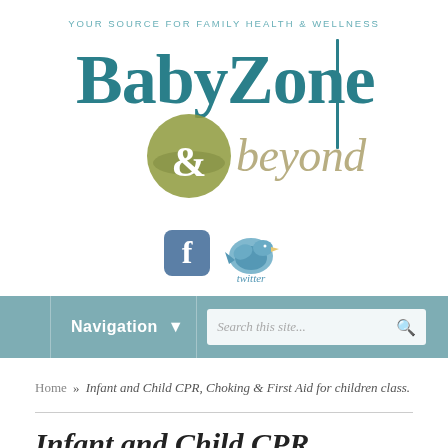[Figure (logo): BabyZone & beyond logo with tagline 'YOUR SOURCE FOR FAMILY HEALTH & WELLNESS'. Features large teal BabyZone text, olive green ampersand circle, and teal 'beyond' text with vertical bar divider.]
[Figure (illustration): Facebook and Twitter social media icons side by side]
Navigation ▾    Search this site...
Home » Infant and Child CPR, Choking & First Aid for children class.
Infant and Child CPR,